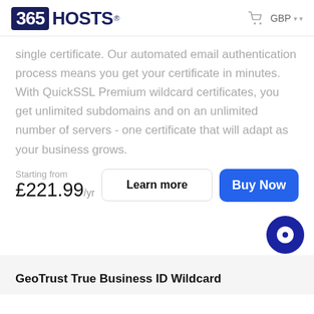[Figure (logo): 365 HOSTS logo with registered trademark symbol, cart icon, and GBP currency selector]
single certificate. Our automated email authentication process means you get your certificate in minutes. With QuickSSL Premium wildcard certificates, you get unlimited subdomains and on an unlimited number of servers - one certificate that will adapt as your business grows.
Starting from £221.99/yr
Learn more
Buy Now
GeoTrust True Business ID Wildcard